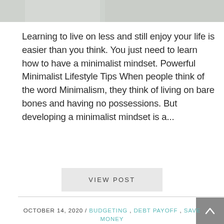[Figure (photo): Partial photo of a person lying in bed with white bedding, cropped at the top of the page]
Learning to live on less and still enjoy your life is easier than you think. You just need to learn how to have a minimalist mindset. Powerful Minimalist Lifestyle Tips When people think of the word Minimalism, they think of living on bare bones and having no possessions. But developing a minimalist mindset is a...
VIEW POST
OCTOBER 14, 2020 / BUDGETING , DEBT PAYOFF , SAVE MONEY